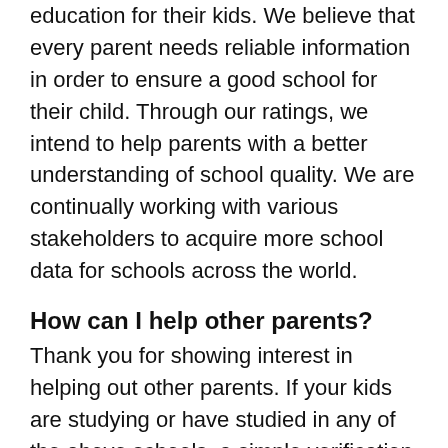education for their kids. We believe that every parent needs reliable information in order to ensure a good school for their child. Through our ratings, we intend to help parents with a better understanding of school quality. We are continually working with various stakeholders to acquire more school data for schools across the world.
How can I help other parents?
Thank you for showing interest in helping out other parents. If your kids are studying or have studied in any of the above schools, a simple verification of the school page's content and rating & review on our website can help